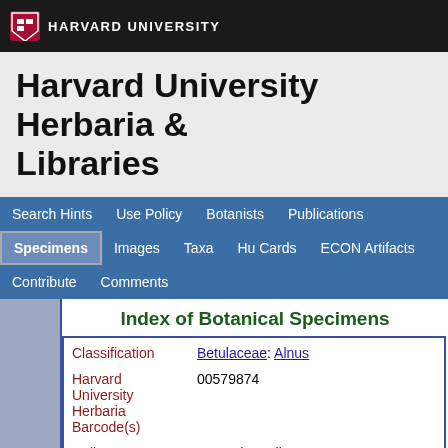HARVARD UNIVERSITY
Harvard University Herbaria & Libraries
Search Hints | Use Policy | Botanists | Publications | Specimens | Images | Taxa | Hu Cards | ECON Artifacts | Contribute | Comments
Index of Botanical Specimens
| Field | Value |
| --- | --- |
| Classification | Betulaceae: Alnus |
| Harvard University Herbaria Barcode(s) | 00579874 |
| Collector | R. L. Champlin |
| Country | United States of America |
| State | Massachusetts |
| Geography | North America: North America (CA, US, MX) (Region): United States of America: Massachusetts |